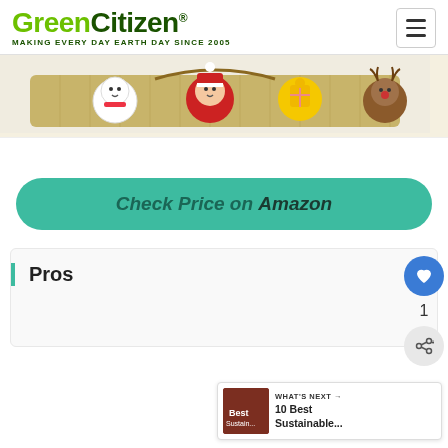GreenCitizen - MAKING EVERY DAY EARTH DAY SINCE 2005
[Figure (photo): Burlap sack with Christmas character illustrations (snowman, Santa Claus, gift character, reindeer) tied at top with rope]
Check Price on Amazon
[Figure (other): Heart/like button (blue circle with heart icon) with count of 1, and share button below]
Pros
WHAT'S NEXT → 10 Best Sustainable...